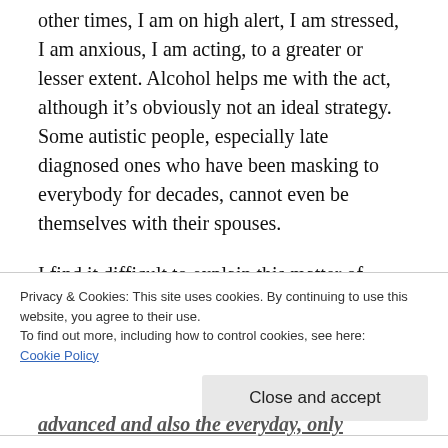other times, I am on high alert, I am stressed, I am anxious, I am acting, to a greater or lesser extent. Alcohol helps me with the act, although it's obviously not an ideal strategy. Some autistic people, especially late diagnosed ones who have been masking to everybody for decades, cannot even be themselves with their spouses.
I find it difficult to explain this matter of extent to people – I often post things on my
Privacy & Cookies: This site uses cookies. By continuing to use this website, you agree to their use.
To find out more, including how to control cookies, see here:
Cookie Policy

[Close and accept]
advanced and also the everyday, only